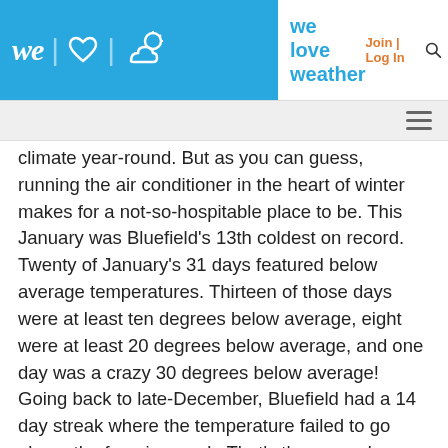we love weather — Join | Log In
climate year-round. But as you can guess, running the air conditioner in the heart of winter makes for a not-so-hospitable place to be. This January was Bluefield's 13th coldest on record. Twenty of January's 31 days featured below average temperatures. Thirteen of those days were at least ten degrees below average, eight were at least 20 degrees below average, and one day was a crazy 30 degrees below average! Going back to late-December, Bluefield had a 14 day streak where the temperature failed to go above the freezing mark. That's the second longest sub-freezing stretch in Bluefield's recorded history. However, what started so bitterly cold was quickly moderate by periods of warmer weather. In fact, just five days separated lows